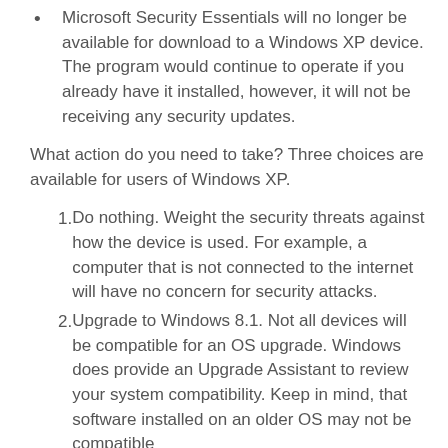Microsoft Security Essentials will no longer be available for download to a Windows XP device. The program would continue to operate if you already have it installed, however, it will not be receiving any security updates.
What action do you need to take? Three choices are available for users of Windows XP.
Do nothing. Weight the security threats against how the device is used. For example, a computer that is not connected to the internet will have no concern for security attacks.
Upgrade to Windows 8.1. Not all devices will be compatible for an OS upgrade. Windows does provide an Upgrade Assistant to review your system compatibility. Keep in mind, that software installed on an older OS may not be compatible